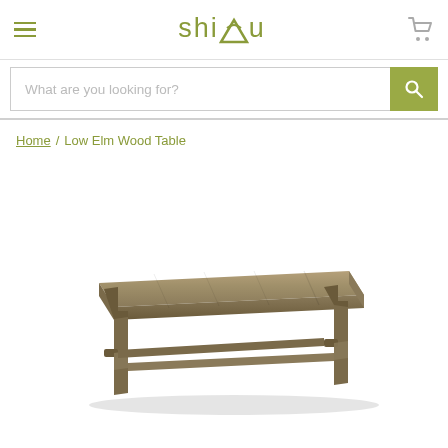shimu
What are you looking for?
Home / Low Elm Wood Table
[Figure (photo): A low, elongated elm wood table with a flat rectangular top surface, four short legs, and horizontal stretcher bars connecting the legs near the base. The wood has a weathered, rustic appearance in warm brown-grey tones. The table casts a subtle shadow on the white background.]